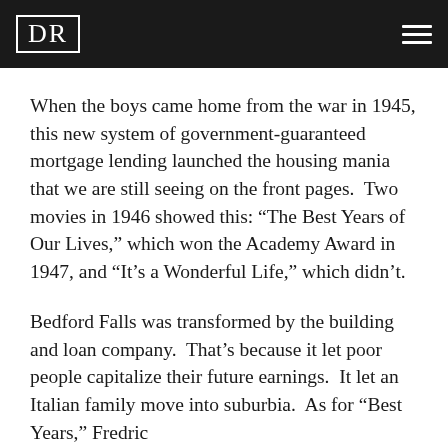DR
When the boys came home from the war in 1945, this new system of government-guaranteed mortgage lending launched the housing mania that we are still seeing on the front pages.  Two movies in 1946 showed this: “The Best Years of Our Lives,” which won the Academy Award in 1947, and “It’s a Wonderful Life,” which didn’t.
Bedford Falls was transformed by the building and loan company.  That’s because it let poor people capitalize their future earnings.  It let an Italian family move into suburbia.  As for “Best Years,” Fredric…